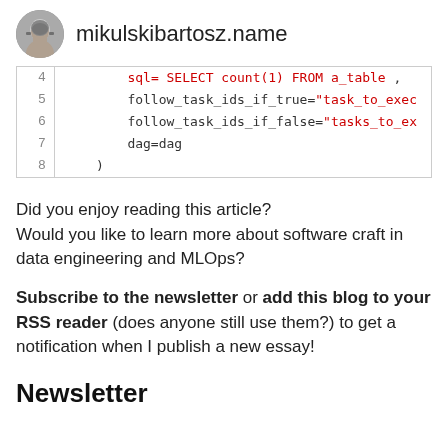mikulskibartosz.name
[Figure (screenshot): Code snippet showing lines 4-8 of Python/Airflow code with line numbers, including sql=SELECT count(1) FROM a_table, follow_task_ids_if_true, follow_task_ids_if_false, dag=dag, and closing parenthesis]
Did you enjoy reading this article?
Would you like to learn more about software craft in data engineering and MLOps?
Subscribe to the newsletter or add this blog to your RSS reader (does anyone still use them?) to get a notification when I publish a new essay!
Newsletter